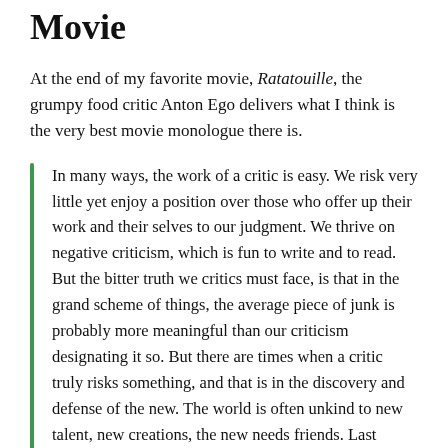Movie
At the end of my favorite movie, Ratatouille, the grumpy food critic Anton Ego delivers what I think is the very best movie monologue there is.
In many ways, the work of a critic is easy. We risk very little yet enjoy a position over those who offer up their work and their selves to our judgment. We thrive on negative criticism, which is fun to write and to read. But the bitter truth we critics must face, is that in the grand scheme of things, the average piece of junk is probably more meaningful than our criticism designating it so. But there are times when a critic truly risks something, and that is in the discovery and defense of the new. The world is often unkind to new talent, new creations, the new needs friends. Last night, I experienced something new, an